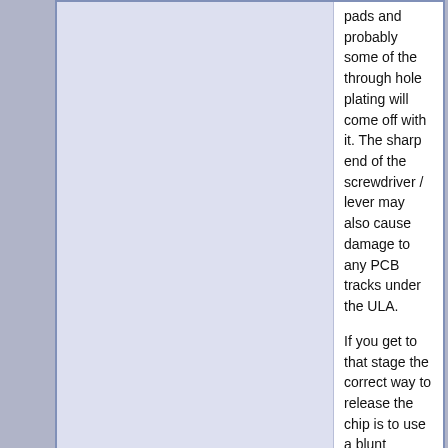pads and probably some of the through hole plating will come off with it. The sharp end of the screwdriver / lever may also cause damage to any PCB tracks under the ULA.

If you get to that stage the correct way to release the chip is to use a blunt wooden object like the square end of a small brush handle to push the chip from side to side, back and forth, until the little traces of solder which are keeping the chip in place crack and let go.

Let me put it this way: The PCB is irreplaceable, damage that and the whole machine may be lost. The chip is almost certainly duff, so it's better to destroy the chip and remove it in pieces than it is to destroy the PCB.
26th Mar 2020, 6:55 pm  #200
Re: Zx81